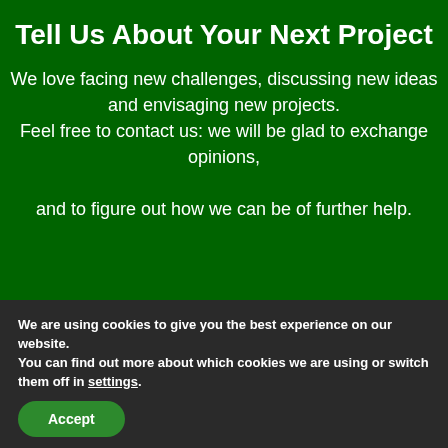Tell Us About Your Next Project
We love facing new challenges, discussing new ideas and envisaging new projects. Feel free to contact us: we will be glad to exchange opinions, and to figure out how we can be of further help.
We are using cookies to give you the best experience on our website.
You can find out more about which cookies we are using or switch them off in settings.
Accept